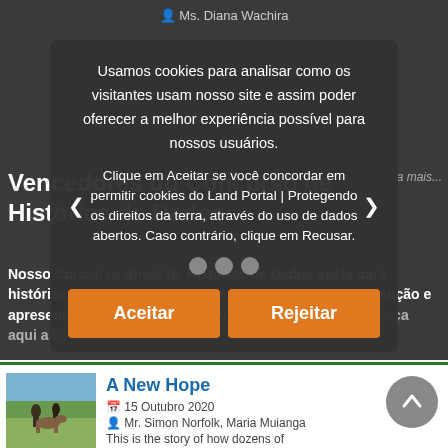Ms. Diana Wachira
Vencedores do Concurso de Histórias de Dados
Nosso Concurso Anual de Histórias de Dados apela para histórias dinâmicas vinculadas à terra que chamem a atenção e apresentem dados de forma inovadora e cativante. Conheça aqui a lista dos vencedores e vencedoras
Usamos cookies para analisar como os visitantes usam nosso site e assim poder oferecer a melhor experiência possível para nossos usuários. Clique em Aceitar se você concordar em permitir cookies do Land Portal | Protegendo os direitos da terra, através do uso de dados abertos. Caso contrário, clique em Recusar.
[Figure (screenshot): Cookie consent modal with Aceitar and Rejeitar buttons over dimmed page content]
[Figure (photo): Thumbnail photo of people with donkeys in a rural/farming setting]
A New Hope
15 Outubro 2020
Mr. Simon Norfolk, Maria Muianga
This is the story of how dozens of